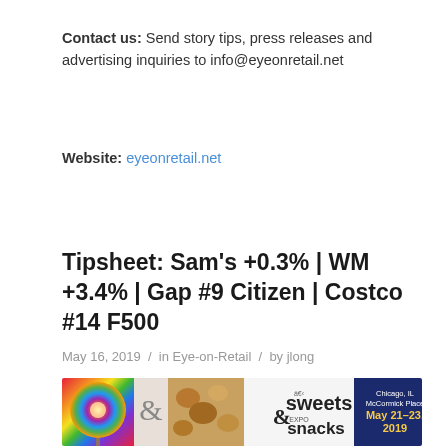Contact us: Send story tips, press releases and advertising inquiries to info@eyeonretail.net
Website: eyeonretail.net
Tipsheet: Sam's +0.3% | WM +3.4% | Gap #9 Citizen | Costco #14 F500
May 16, 2019 / in Eye-on-Retail / by jlong
[Figure (photo): Banner advertisement for Sweets & Snacks Expo, Chicago IL McCormick Place, May 21-23, 2019, register now]